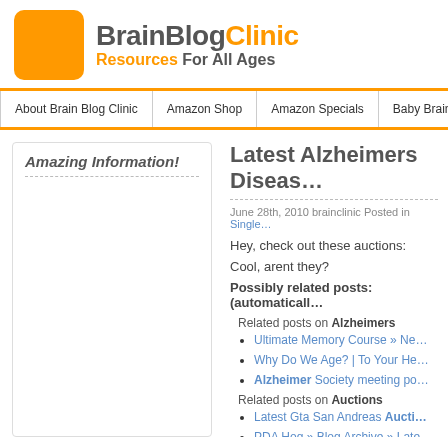[Figure (logo): BrainBlogClinic logo with orange square icon and text 'BrainBlogClinic Resources For All Ages']
About Brain Blog Clinic | Amazon Shop | Amazon Specials | Baby Brain Builder | Brain P...
Amazing Information!
Latest Alzheimers Diseas...
June 28th, 2010 brainclinic Posted in Single...
Hey, check out these auctions:
Cool, arent they?
Possibly related posts: (automaticall...
Related posts on Alzheimers
Ultimate Memory Course » Ne...
Why Do We Age? | To Your He...
Alzheimer Society meeting po...
Related posts on Auctions
Latest Gta San Andreas Aucti...
PDA Hog » Blog Archive » Late...
Latest High Yield Auctions | ...